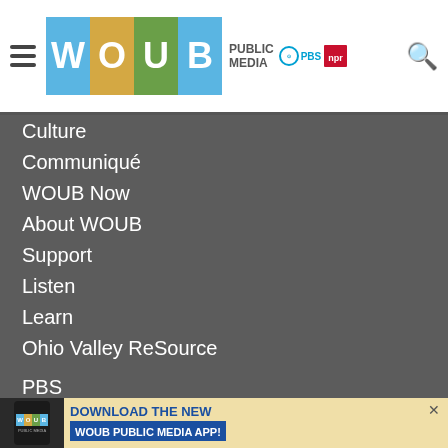WOUB Public Media PBS NPR
Culture
Communiqué
WOUB Now
About WOUB
Support
Listen
Learn
Ohio Valley ReSource
PBS
NPR
Community Calendar
WOUB-TV FCC Files
[Figure (infographic): Download the new WOUB Public Media App advertisement banner with WOUB logo on a phone image and text 'DOWNLOAD THE NEW WOUB PUBLIC MEDIA APP!']